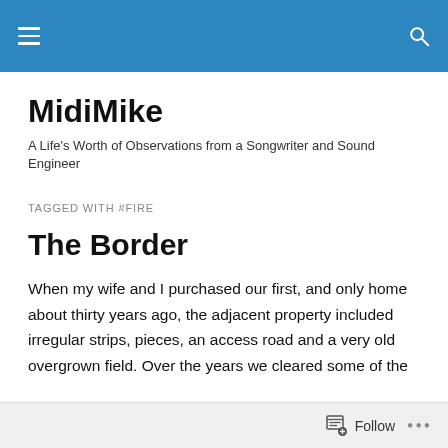MidiMike – site navigation header with hamburger menu and search icon
MidiMike
A Life's Worth of Observations from a Songwriter and Sound Engineer
TAGGED WITH #FIRE
The Border
When my wife and I purchased our first, and only home about thirty years ago, the adjacent property included irregular strips, pieces, an access road and a very old overgrown field. Over the years we cleared some of the
Follow  •••